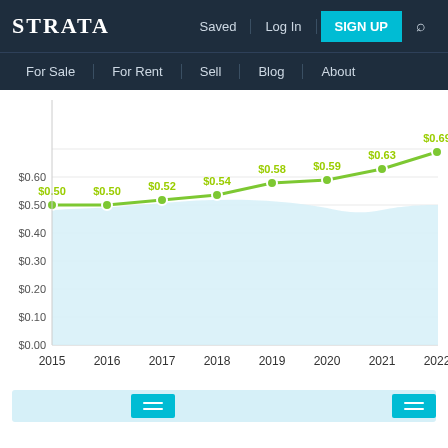STRATA | Saved | Log In | SIGN UP
For Sale | For Rent | Sell | Blog | About
[Figure (line-chart): Price per sqft over time]